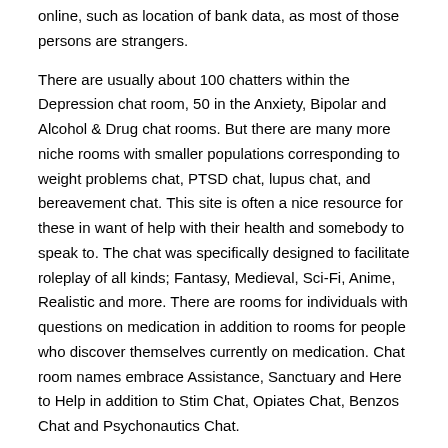online, such as location of bank data, as most of those persons are strangers.
There are usually about 100 chatters within the Depression chat room, 50 in the Anxiety, Bipolar and Alcohol & Drug chat rooms. But there are many more niche rooms with smaller populations corresponding to weight problems chat, PTSD chat, lupus chat, and bereavement chat. This site is often a nice resource for these in want of help with their health and somebody to speak to. The chat was specifically designed to facilitate roleplay of all kinds; Fantasy, Medieval, Sci-Fi, Anime, Realistic and more. There are rooms for individuals with questions on medication in addition to rooms for people who discover themselves currently on medication. Chat room names embrace Assistance, Sanctuary and Here to Help in addition to Stim Chat, Opiates Chat, Benzos Chat and Psychonautics Chat.
Sponsored Content
You can choose different ways of speaking based on your comfort.